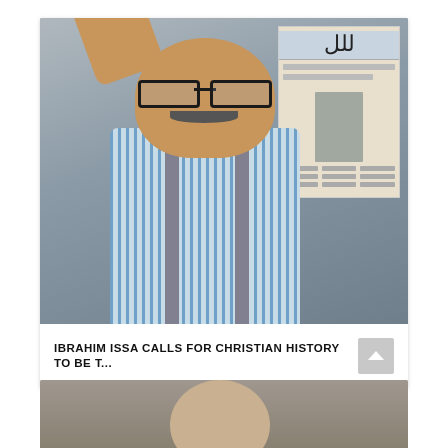[Figure (photo): Photo of Ibrahim Issa, a middle-aged man with glasses and a mustache, wearing a blue and white striped shirt with grey suspenders, raising his right hand while speaking. Behind him is a wall with an Arabic newspaper poster.]
IBRAHIM ISSA CALLS FOR CHRISTIAN HISTORY TO BE T...
[Figure (photo): Partial photo of another person, only the top of their head visible at the bottom of the page.]